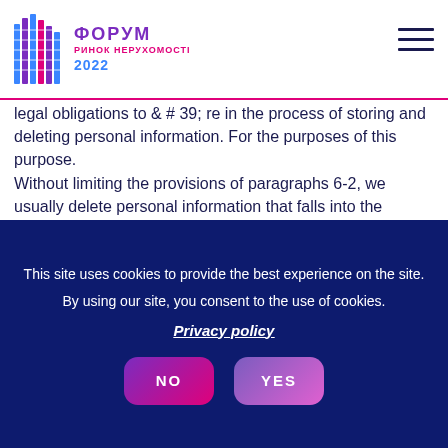ФОРУМ РИНОК НЕРУХОМОСТІ 2022
legal obligations to & # 39; re in the process of storing and deleting personal information. For the purposes of this purpose.
Without limiting the provisions of paragraphs 6-2, we usually delete personal information that falls into the following categories on the days and times defined below:
This site uses cookies to provide the best experience on the site.
By using our site, you consent to the use of cookies.
Privacy policy
NO   YES